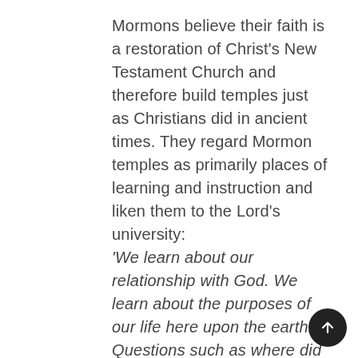Mormons believe their faith is a restoration of Christ's New Testament Church and therefore build temples just as Christians did in ancient times. They regard Mormon temples as primarily places of learning and instruction and liken them to the Lord's university:
'We learn about our relationship with God. We learn about the purposes of our life here upon the earth. Questions such as where did we come from? Why are we here? What happens to us after we die? Those questions are addressed and answered in the instruction that's